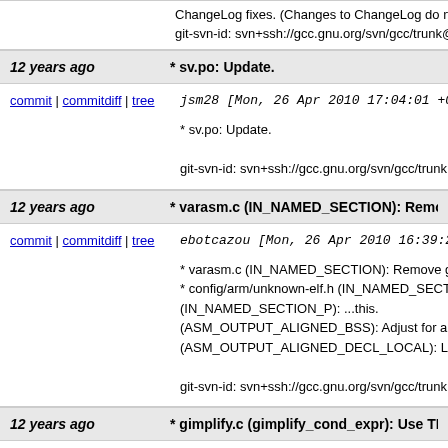ChangeLog fixes.  (Changes to ChangeLog do no
git-svn-id: svn+ssh://gcc.gnu.org/svn/gcc/trunk@1
12 years ago   * sv.po: Update.
commit | commitdiff | tree
jsm28 [Mon, 26 Apr 2010 17:04:01 +0000 (
* sv.po: Update.

git-svn-id: svn+ssh://gcc.gnu.org/svn/gcc/trunk@1
12 years ago   * varasm.c (IN_NAMED_SECTION): Remove gu
commit | commitdiff | tree
ebotcazou [Mon, 26 Apr 2010 16:39:24 +00
* varasm.c (IN_NAMED_SECTION): Remove gua
* config/arm/unknown-elf.h (IN_NAMED_SECTION
(IN_NAMED_SECTION_P): ...this.
(ASM_OUTPUT_ALIGNED_BSS): Adjust for abo
(ASM_OUTPUT_ALIGNED_DECL_LOCAL): Like

git-svn-id: svn+ssh://gcc.gnu.org/svn/gcc/trunk@1
12 years ago   * gimplify.c (gimplify_cond_expr): Use THEN_ a
commit | commitdiff | tree
ebotcazou [Mon, 26 Apr 2010 16:32:45 +00